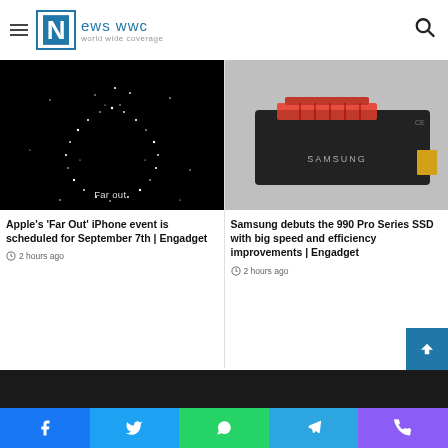News WWC - world wide coverage
[Figure (photo): Apple 'Far Out' iPhone event teaser image - dark background with glittering stars/sparkles in a curved shape, text 'Far out.' at bottom]
Apple's 'Far Out' iPhone event is scheduled for September 7th | Engadget
2 hours ago
[Figure (photo): Samsung 990 Pro Series SSD with red heatsink on dark grey/black PCIe card]
Samsung debuts the 990 Pro Series SSD with big speed and efficiency improvements | Engadget
2 hours ago